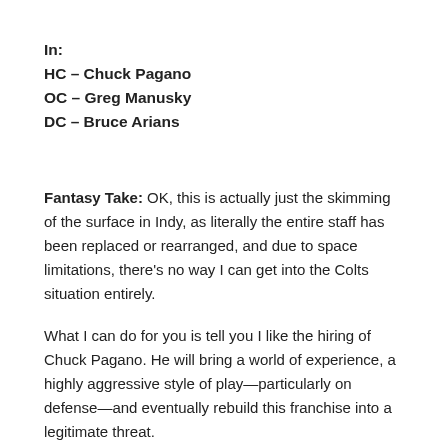In:
HC – Chuck Pagano
OC – Greg Manusky
DC – Bruce Arians
Fantasy Take: OK, this is actually just the skimming of the surface in Indy, as literally the entire staff has been replaced or rearranged, and due to space limitations, there's no way I can get into the Colts situation entirely.
What I can do for you is tell you I like the hiring of Chuck Pagano. He will bring a world of experience, a highly aggressive style of play—particularly on defense—and eventually rebuild this franchise into a legitimate threat.